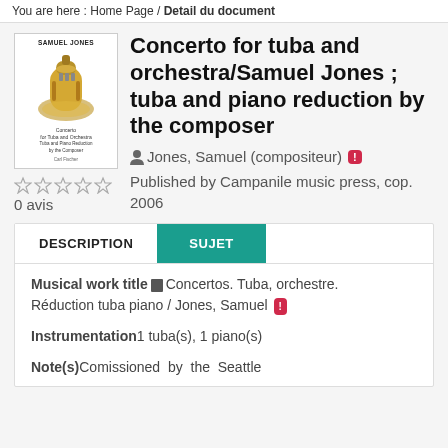You are here : Home Page / Detail du document
Concerto for tuba and orchestra/Samuel Jones ; tuba and piano reduction by the composer
Jones, Samuel (compositeur)
Published by Campanile music press, cop. 2006
0 avis
DESCRIPTION
SUJET
Musical work title Concertos. Tuba, orchestre. Réduction tuba piano / Jones, Samuel
Instrumentation 1 tuba(s), 1 piano(s)
Note(s) Comissioned by the Seattle